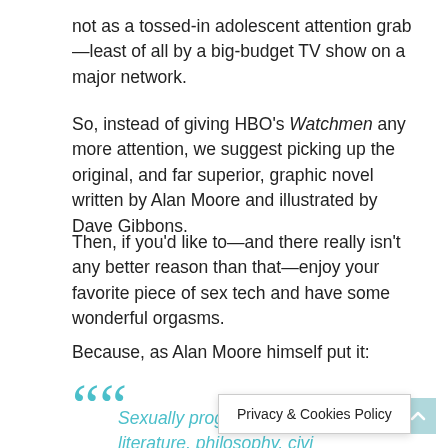not as a tossed-in adolescent attention grab—least of all by a big-budget TV show on a major network.
So, instead of giving HBO's Watchmen any more attention, we suggest picking up the original, and far superior, graphic novel written by Alan Moore and illustrated by Dave Gibbons.
Then, if you'd like to—and there really isn't any better reason than that—enjoy your favorite piece of sex tech and have some wonderful orgasms.
Because, as Alan Moore himself put it:
“Sexually progressive cultures gave us literature, philosophy, civi…